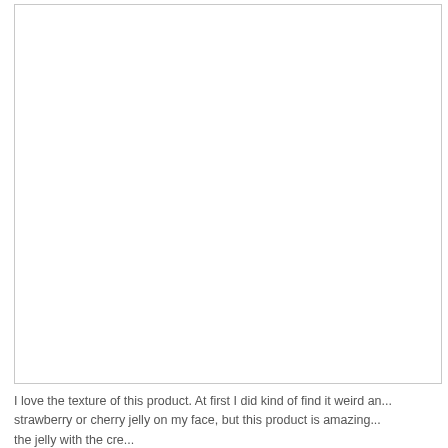[Figure (photo): A large white/blank rectangular image area with a light gray border, appearing mostly empty or white.]
I love the texture of this product. At first I did kind of find it weird an... strawberry or cherry jelly on my face, but this product is amazing... the jelly with the cre...